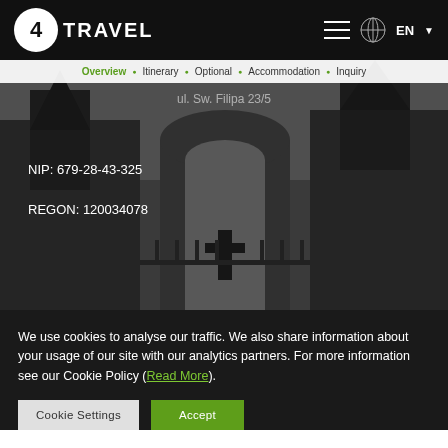4Travel - EN
[Figure (screenshot): Hero section with a grayscale photo of a church/cathedral courtyard with a cross. Navigation bar overlaid on top with links: Overview, Itinerary, Optional, Accommodation, Inquiry. Address text overlay: ul. Sw. Filipa 23/5. NIP: 679-28-43-325. REGON: 120034078.]
We use cookies to analyse our traffic. We also share information about your usage of our site with our analytics partners. For more information see our Cookie Policy (Read More).
Cookie Settings | Accept